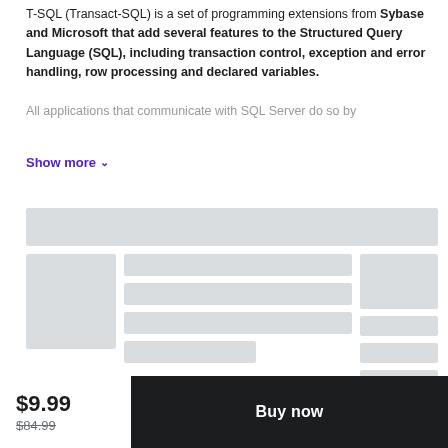T-SQL (Transact-SQL) is a set of programming extensions from Sybase and Microsoft that add several features to the Structured Query Language (SQL), including transaction control, exception and error handling, row processing and declared variables.
All applications that communicate with SQL Server do so by
Show more
[Figure (screenshot): Loading skeleton placeholder UI with grey bars representing course content cards]
$9.99
$84.99
Buy now